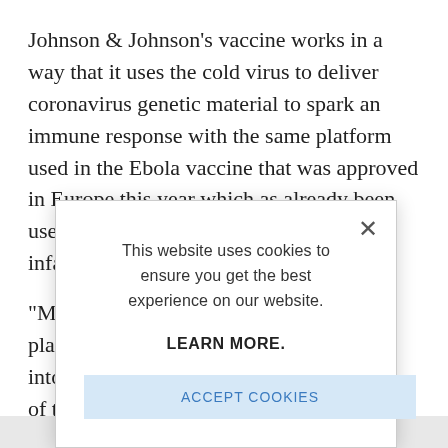Johnson & Johnson's vaccine works in a way that it uses the cold virus to deliver coronavirus genetic material to spark an immune response with the same platform used in the Ebola vaccine that was approved in Europe this year which as already been used infan
“Mos plat into of th Chil mat unlik
[Figure (screenshot): Cookie consent modal dialog overlaying the article text. Contains message 'This website uses cookies to ensure you get the best experience on our website.', a bold 'LEARN MORE.' link, and an 'ACCEPT COOKIES' button in light blue. A close (X) button is in the top right corner.]